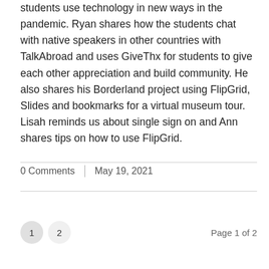students use technology in new ways in the pandemic. Ryan shares how the students chat with native speakers in other countries with TalkAbroad and uses GiveThx for students to give each other appreciation and build community. He also shares his Borderland project using FlipGrid, Slides and bookmarks for a virtual museum tour. Lisah reminds us about single sign on and Ann shares tips on how to use FlipGrid.
0 Comments | May 19, 2021
1  2  Page 1 of 2